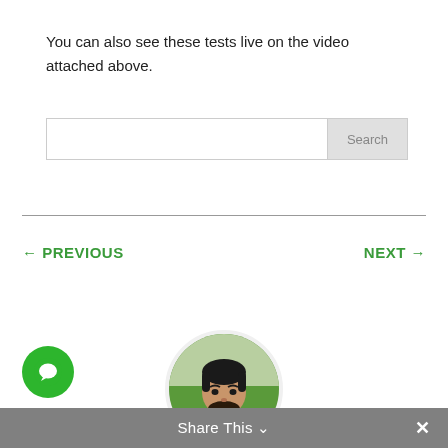You can also see these tests live on the video attached above.
[Figure (screenshot): Search input box with a text field and a 'Search' button on the right]
← PREVIOUS
NEXT →
[Figure (photo): Circular avatar photo of a bearded young man wearing a blue shirt, outdoor background]
[Figure (illustration): Green circular chat/messenger button with white chat bubble icon]
Share This ∨  ✕